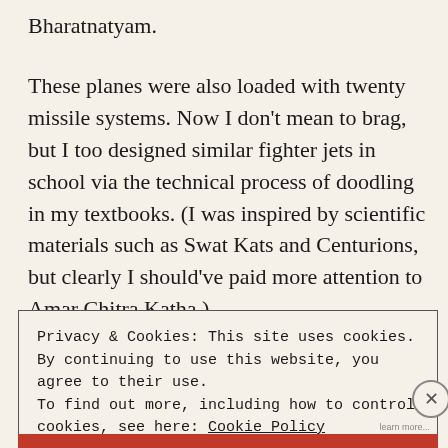Bharatnatyam.
These planes were also loaded with twenty missile systems. Now I don't mean to brag, but I too designed similar fighter jets in school via the technical process of doodling in my textbooks. (I was inspired by scientific materials such as Swat Kats and Centurions, but clearly I should've paid more attention to Amar Chitra Katha.)
Privacy & Cookies: This site uses cookies. By continuing to use this website, you agree to their use.
To find out more, including how to control cookies, see here: Cookie Policy
Close and accept